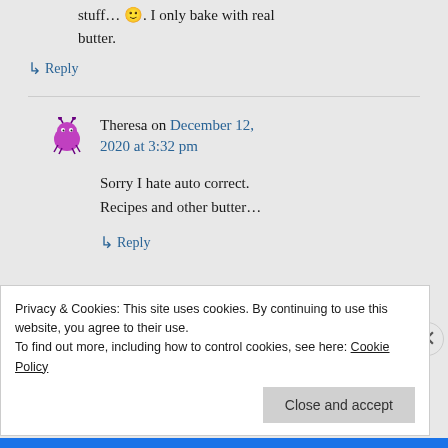stuff… 🙂. I only bake with real butter.
↳ Reply
Theresa on December 12, 2020 at 3:32 pm
Sorry I hate auto correct. Recipes and other butter…
↳ Reply
Privacy & Cookies: This site uses cookies. By continuing to use this website, you agree to their use.
To find out more, including how to control cookies, see here: Cookie Policy
Close and accept